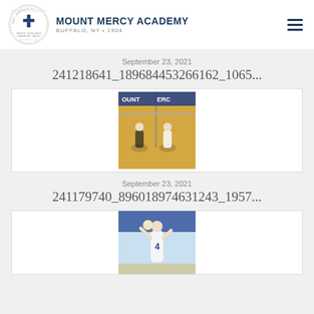[Figure (logo): Mount Mercy Academy circular seal/logo with cross]
MOUNT MERCY ACADEMY
BUFFALO, NY • 1904
September 23, 2021
241218641_189684453266162_1065...
[Figure (photo): Volleyball players on a gym court under a net, with 'MOUNT MERCY' banner in background]
September 23, 2021
241179740_896018974631243_1957...
[Figure (photo): Volleyball player wearing #4 jersey serving or hitting the ball in a gymnasium]